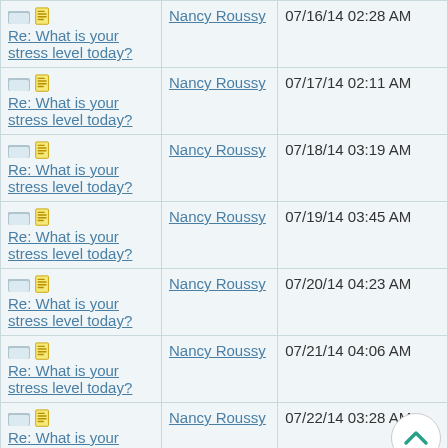| Thread | Author | Date |
| --- | --- | --- |
| Re: What is your stress level today? | Nancy Roussy | 07/16/14 02:28 AM |
| Re: What is your stress level today? | Nancy Roussy | 07/17/14 02:11 AM |
| Re: What is your stress level today? | Nancy Roussy | 07/18/14 03:19 AM |
| Re: What is your stress level today? | Nancy Roussy | 07/19/14 03:45 AM |
| Re: What is your stress level today? | Nancy Roussy | 07/20/14 04:23 AM |
| Re: What is your stress level today? | Nancy Roussy | 07/21/14 04:06 AM |
| Re: What is your stress level today? | Nancy Roussy | 07/22/14 03:28 AM |
| Re: What is your stress level today? | Nancy Roussy | 07/23/14 02:14 AM |